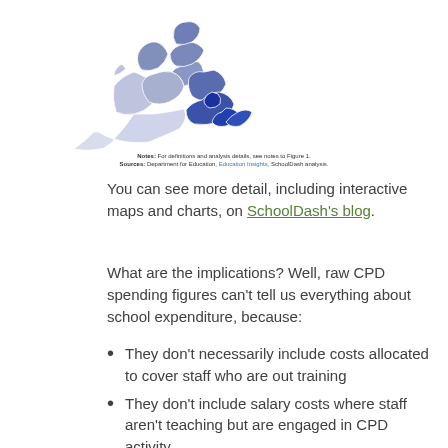[Figure (map): Choropleth map of England showing regional CPD spending variation, with darker blue indicating higher spending concentrated in eastern/London regions and lighter shading in western/northern regions.]
Notes: For definitions and analysis details, see notes to Figure 1. Sources: Department for Education, Education Insights, SchoolDash analysis.
You can see more detail, including interactive maps and charts, on SchoolDash’s blog.
What are the implications? Well, raw CPD spending figures can’t tell us everything about school expenditure, because:
They don’t necessarily include costs allocated to cover staff who are out training
They don’t include salary costs where staff aren’t teaching but are engaged in CPD activity
They don’t include salary costs of internal additional staff freed from CPD activity